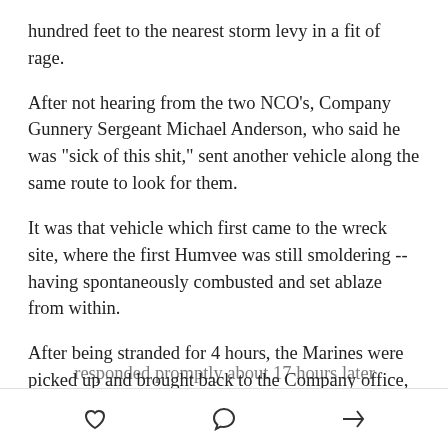hundred feet to the nearest storm levy in a fit of rage.
After not hearing from the two NCO's, Company Gunnery Sergeant Michael Anderson, who said he was "sick of this shit," sent another vehicle along the same route to look for them.
It was that vehicle which first came to the wreck site, where the first Humvee was still smoldering -- having spontaneously combusted and set ablaze from within.
After being stranded for 4 hours, the Marines were picked up and brought back to the Company office, where they awaited the terms of their impending NJPs [Non-Judicial Punishment]. However, by the time a
responded promptly about 17 hours later
♡  ◯  ↗